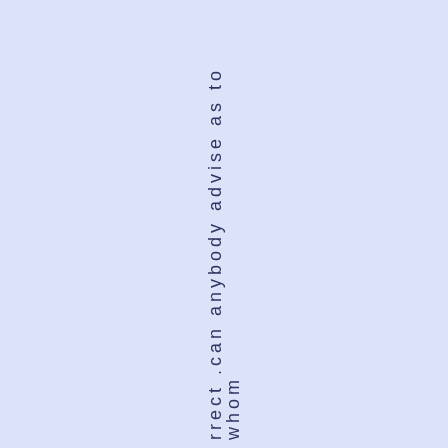rrect .can anybody advise as to whom